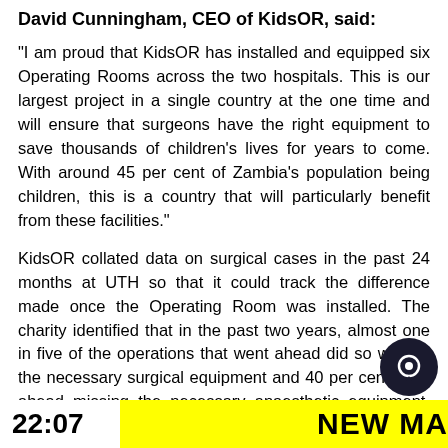David Cunningham, CEO of KidsOR, said:
“I am proud that KidsOR has installed and equipped six Operating Rooms across the two hospitals. This is our largest project in a single country at the one time and will ensure that surgeons have the right equipment to save thousands of children’s lives for years to come. With around 45 per cent of Zambia’s population being children, this is a country that will particularly benefit from these facilities.”
KidsOR collated data on surgical cases in the past 24 months at UTH so that it could track the difference made once the Operating Room was installed. The charity identified that in the past two years, almost one in five of the operations that went ahead did so without the necessary surgical equipment and 40 per cent went ahead missing the necessary anaesthetic equipment. These issues will be rectified as soon as surgeons start using the newly i
22:07   NEW MA